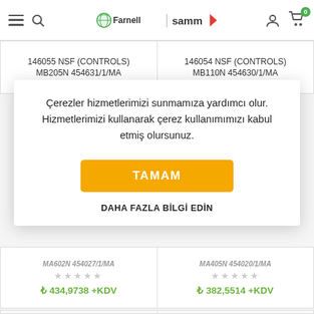Farnell | samm — navigation header with hamburger menu, search, logo, user icon, cart (0)
146055 NSF (CONTROLS) MB205N 454631/1/MA
146054 NSF (CONTROLS) MB110N 454630/1/MA
Çerezler hizmetlerimizi sunmamıza yardımcı olur. Hizmetlerimizi kullanarak çerez kullanımımızı kabul etmiş olursunuz.
TAMAM
DAHA FAZLA BİLGİ EDİN
MA602N 454027/1/MA ☆☆☆☆☆ ₺ 434,9738 +KDV
MA405N 454020/1/MA ☆☆☆☆☆ ₺ 382,5514 +KDV